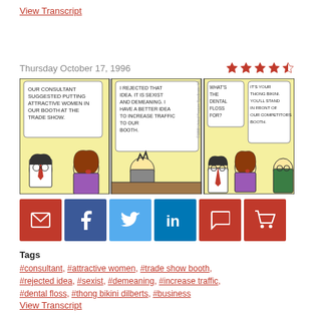View Transcript
Thursday October 17, 1996
[Figure (illustration): Dilbert comic strip with three panels. Panel 1: consultant suggests putting attractive women in booth at trade show. Panel 2: woman rejects the idea as sexist and demeaning and says she has a better idea to increase traffic to their booth. Panel 3: Man asks what the dental floss is for; woman replies it is a thong bikini and he will stand in front of competitors booth.]
[Figure (infographic): Social sharing buttons: email (red), Facebook (dark blue), Twitter (light blue), LinkedIn (blue), comment (red), cart (red)]
Tags
#consultant, #attractive women, #trade show booth, #rejected idea, #sexist, #demeaning, #increase traffic, #dental floss, #thong bikini dilberts, #business
View Transcript